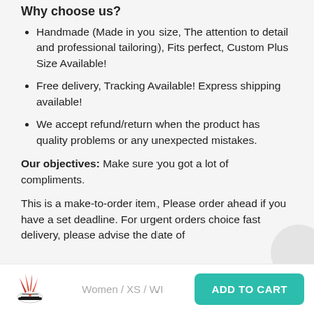Why choose us?
Handmade (Made in you size, The attention to detail and professional tailoring), Fits perfect, Custom Plus Size Available!
Free delivery, Tracking Available! Express shipping available!
We accept refund/return when the product has quality problems or any unexpected mistakes.
Our objectives: Make sure you got a lot of compliments.
This is a make-to-order item, Please order ahead if you have a set deadline. For urgent orders choice fast delivery, please advise the date of
Women / XS / WI
ADD TO CART